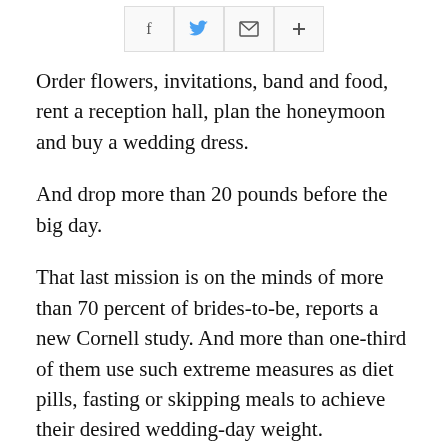[Figure (other): Social sharing buttons: Facebook, Twitter, Email, Plus/More]
Order flowers, invitations, band and food, rent a reception hall, plan the honeymoon and buy a wedding dress.
And drop more than 20 pounds before the big day.
That last mission is on the minds of more than 70 percent of brides-to-be, reports a new Cornell study. And more than one-third of them use such extreme measures as diet pills, fasting or skipping meals to achieve their desired wedding-day weight.
Of women surveyed who had already bought their bridal gowns, 14 percent purposely bought a wedding dress one or more sizes smaller than their then-current dress size